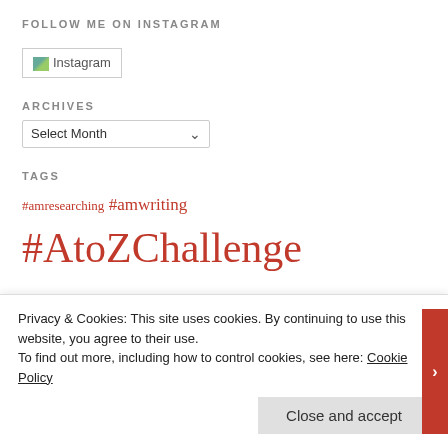FOLLOW ME ON INSTAGRAM
[Figure (logo): Instagram logo placeholder image with broken image icon and text 'Instagram']
ARCHIVES
Select Month (dropdown)
TAGS
#amresearching #amwriting #AtoZChallenge #flashfiction abbeys Art and Craft Movement Art galleries blogging Blogging Challenge Books Capability Brown Carreg Cennen Castle castles Cathedrals childhood Children
Privacy & Cookies: This site uses cookies. By continuing to use this website, you agree to their use.
To find out more, including how to control cookies, see here: Cookie Policy
Close and accept